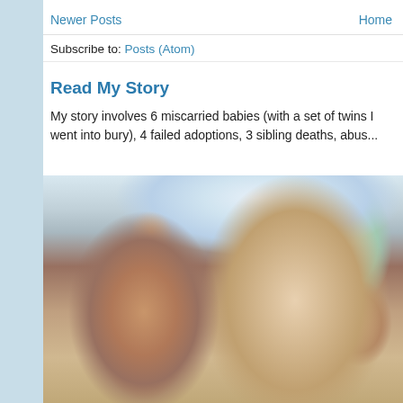Newer Posts    Home
Subscribe to: Posts (Atom)
Read My Story
My story involves 6 miscarried babies (with a set of twins I went into bury), 4 failed adoptions, 3 sibling deaths, abus...
[Figure (photo): A woman with blonde hair and dark red lipstick posing with two red-haired girls, one wearing glasses, in what appears to be an indoor setting with colorful artwork visible in the background.]